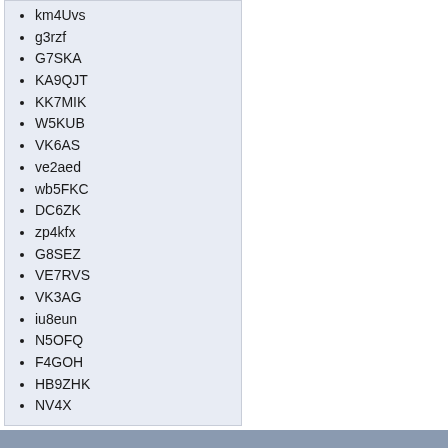km4Uvs
g3rzf
G7SKA
KA9QJT
KK7MIK
W5KUB
VK6AS
ve2aed
wb5FKC
DC6ZK
zp4kfx
G8SEZ
VE7RVS
VK3AG
iu8eun
N5OFQ
F4GOH
HB9ZHK
NV4X
For issues with this site, email the WSPRNET Admin Team or post to the site forum. Downloads mode, as well as other modes by Joe Taylor (K1JT), can be f
RoopleTheme